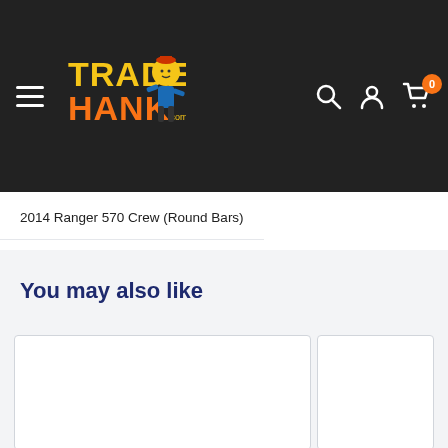[Figure (logo): Trader Hank logo with cartoon character, yellow and orange text on dark background]
2014 Ranger 570 Crew (Round Bars)
You may also like